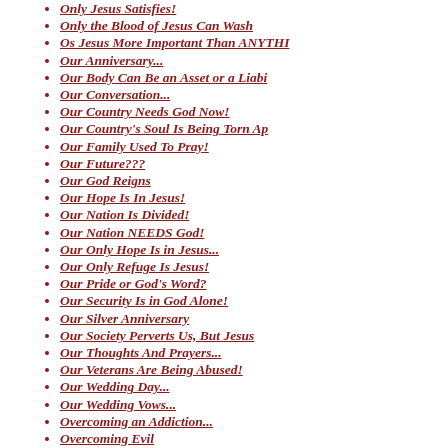Only Jesus Satisfies!
Only the Blood of Jesus Can Wash
Os Jesus More Important Than ANYTHI
Our Anniversary...
Our Body Can Be an Asset or a Liabi
Our Conversation...
Our Country Needs God Now!
Our Country's Soul Is Being Torn Ap
Our Family Used To Pray!
Our Future???
Our God Reigns
Our Hope Is In Jesus!
Our Nation Is Divided!
Our Nation NEEDS God!
Our Only Hope Is in Jesus...
Our Only Refuge Is Jesus!
Our Pride or God's Word?
Our Security Is in God Alone!
Our Silver Anniversary
Our Society Perverts Us, But Jesus
Our Thoughts And Prayers...
Our Veterans Are Being Abused!
Our Wedding Day...
Our Wedding Vows...
Overcoming an Addiction...
Overcoming Evil
Parents Need to Be in Church with T
Pastor, You're In Trouble With God!
Pastors Need To Preach The Word Of
People Are Easily Offended